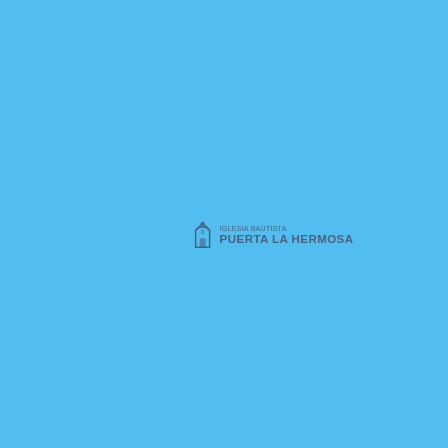[Figure (logo): Iglesia Bautista Puerta La Hermosa logo: a small church/arch icon on the left, with 'IGLESIA BAUTISTA' in small caps above and 'PUERTA LA HERMOSA' in larger bold small caps below, all in muted blue-grey color on a sky-blue background]